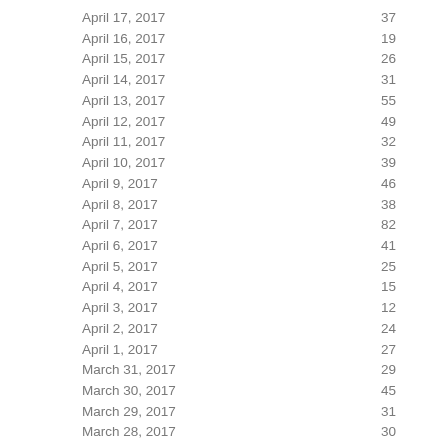| Date | Value |
| --- | --- |
| April 17, 2017 | 37 |
| April 16, 2017 | 19 |
| April 15, 2017 | 26 |
| April 14, 2017 | 31 |
| April 13, 2017 | 55 |
| April 12, 2017 | 49 |
| April 11, 2017 | 32 |
| April 10, 2017 | 39 |
| April 9, 2017 | 46 |
| April 8, 2017 | 38 |
| April 7, 2017 | 82 |
| April 6, 2017 | 41 |
| April 5, 2017 | 25 |
| April 4, 2017 | 15 |
| April 3, 2017 | 12 |
| April 2, 2017 | 24 |
| April 1, 2017 | 27 |
| March 31, 2017 | 29 |
| March 30, 2017 | 45 |
| March 29, 2017 | 31 |
| March 28, 2017 | 30 |
| March 27, 2017 | 60 |
| March 26, 2017 | 35 |